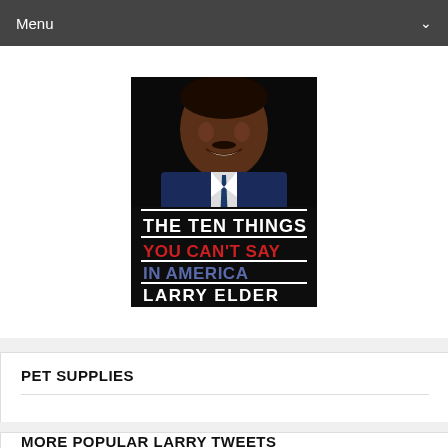Menu
[Figure (illustration): Book cover of 'The Ten Things You Can't Say In America' by Larry Elder. Black background with a photo of a smiling Black man in a suit at the top. Bold white text reads 'THE TEN THINGS', red bold text reads 'YOU CAN'T SAY', blue-gray bold text reads 'IN AMERICA', and white text reads 'LARRY ELDER'.]
PET SUPPLIES
MORE POPULAR LARRY TWEETS